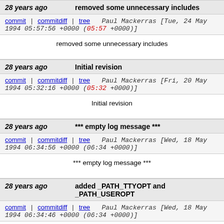28 years ago   removed some unnecessary includes
commit | commitdiff | tree   Paul Mackerras [Tue, 24 May 1994 05:57:56 +0000 (05:57 +0000)]
removed some unnecessary includes
28 years ago   Initial revision
commit | commitdiff | tree   Paul Mackerras [Fri, 20 May 1994 05:32:16 +0000 (05:32 +0000)]
Initial revision
28 years ago   *** empty log message ***
commit | commitdiff | tree   Paul Mackerras [Wed, 18 May 1994 06:34:56 +0000 (06:34 +0000)]
*** empty log message ***
28 years ago   added _PATH_TTYOPT and _PATH_USEROPT
commit | commitdiff | tree   Paul Mackerras [Wed, 18 May 1994 06:34:46 +0000 (06:34 +0000)]
added _PATH_TTYOPT and _PATH_USEROPT